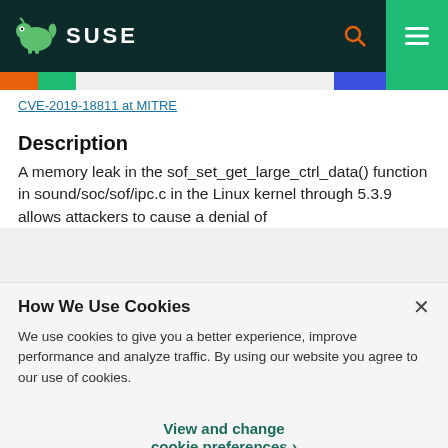SUSE
CVE-2019-18811 at MITRE
Description
A memory leak in the sof_set_get_large_ctrl_data() function in sound/soc/sof/ipc.c in the Linux kernel through 5.3.9 allows attackers to cause a denial of
How We Use Cookies
We use cookies to give you a better experience, improve performance and analyze traffic. By using our website you agree to our use of cookies.
View and change cookie preferences >